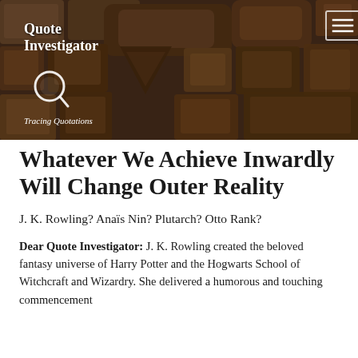[Figure (photo): Header banner showing wooden letterpress blocks/type in various shapes, with the Quote Investigator site logo, magnifying glass icon, and tagline overlaid on top. A hamburger menu icon appears top right.]
Whatever We Achieve Inwardly Will Change Outer Reality
J. K. Rowling? Anaïs Nin? Plutarch? Otto Rank?
Dear Quote Investigator: J. K. Rowling created the beloved fantasy universe of Harry Potter and the Hogwarts School of Witchcraft and Wizardry. She delivered a humorous and touching commencement